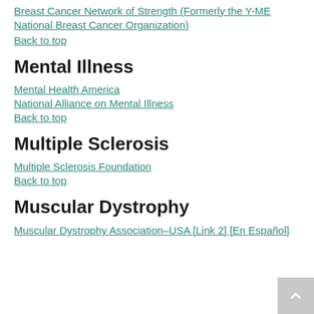Breast Cancer Network of Strength (Formerly the Y-ME National Breast Cancer Organization)
Back to top
Mental Illness
Mental Health America
National Alliance on Mental Illness
Back to top
Multiple Sclerosis
Multiple Sclerosis Foundation
Back to top
Muscular Dystrophy
Muscular Dystrophy Association–USA [Link 2] [En Español]